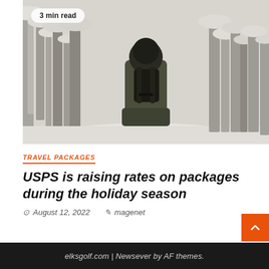[Figure (photo): Person viewed from behind wearing a dark olive/green parka with a black backpack, standing in a snowy winter forest with snow-covered birch trees. Black and white tones with slight sepia. Badge overlay reads '3 min read'.]
TRAVEL PACKAGES
USPS is raising rates on packages during the holiday season
August 12, 2022   magenet
elksgolf.com | Newsever by AF themes.